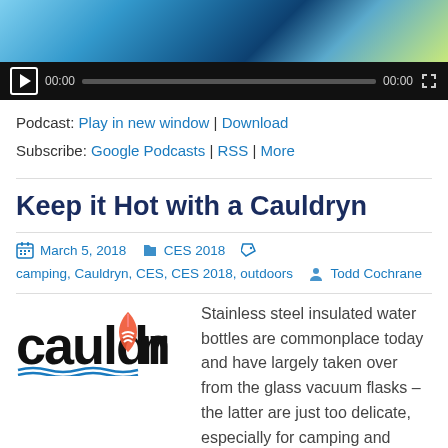[Figure (screenshot): Podcast audio player with dark background, showing play button, time display 00:00, progress bar, and fullscreen icon]
Podcast: Play in new window | Download
Subscribe: Google Podcasts | RSS | More
Keep it Hot with a Cauldryn
March 5, 2018   CES 2018   camping, Cauldryn, CES, CES 2018, outdoors   Todd Cochrane
[Figure (logo): Cauldryn logo in black bold stylized text with blue wave and red flame icon]
Stainless steel insulated water bottles are commonplace today and have largely taken over from the glass vacuum flasks – the latter are just too delicate, especially for camping and hillwalking. And while the steel bottles